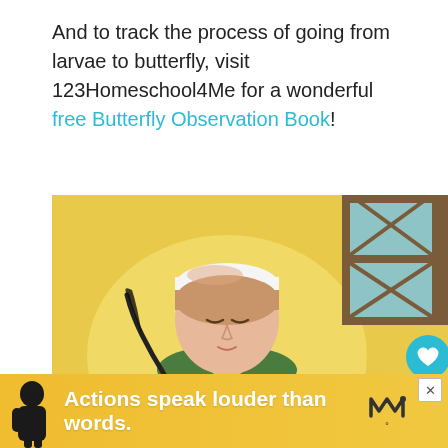And to track the process of going from larvae to butterfly, visit 123Homeschool4Me for a wonderful free Butterfly Observation Book!
[Figure (illustration): Illustration of a person with eyes closed wearing a white headband and green and white clothing, holding a dark feather quill, set against a golden-yellow background with a wood-framed window in the upper right. Social media UI overlaid: heart button, count '1', share button.]
[Figure (screenshot): What's Next panel showing a thumbnail image and text 'Butterfly Activities for...']
[Figure (infographic): Advertisement banner at bottom: yellow background, silhouette of a person, bold white text 'Actions speak louder than words.' with a logo on right. X close button at top-right.]